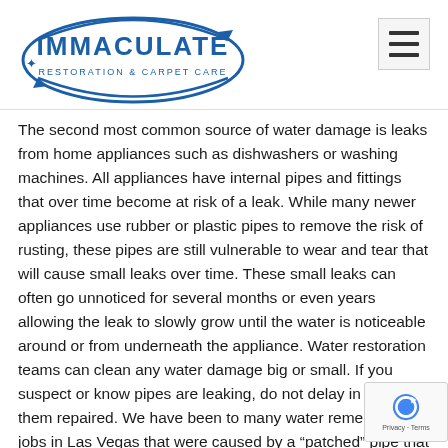[Figure (logo): Immaculate Restoration & Carpet Care logo — blue oval with text IMMACULATE and subtitle RESTORATION & CARPET CARE, with arrow/star design elements]
The second most common source of water damage is leaks from home appliances such as dishwashers or washing machines. All appliances have internal pipes and fittings that over time become at risk of a leak. While many newer appliances use rubber or plastic pipes to remove the risk of rusting, these pipes are still vulnerable to wear and tear that will cause small leaks over time. These small leaks can often go unnoticed for several months or even years allowing the leak to slowly grow until the water is noticeable around or from underneath the appliance. Water restoration teams can clean any water damage big or small. If you suspect or know pipes are leaking, do not delay in having them repaired. We have been to many water remediation jobs in Las Vegas that were caused by a “patched” pipe that was not fixed correctly initially. To stay ahead of leaky appliances, we recommend looking underneath and behind appliances for signs of water. If you find a prolonged leak or experience